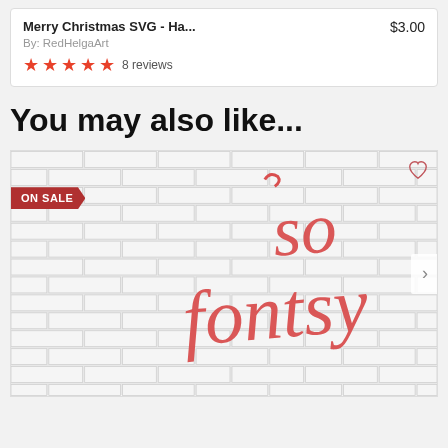Merry Christmas SVG - Ha...
By: RedHelgaArt
★★★★★ 8 reviews
$3.00
You may also like...
[Figure (screenshot): Product thumbnail showing 'so fontsy' in red script lettering on a white brick wall background, with an ON SALE badge in the top-left corner and a heart icon in the top-right corner.]
a 100% free commercial use font exclusively from SoFontsu.com